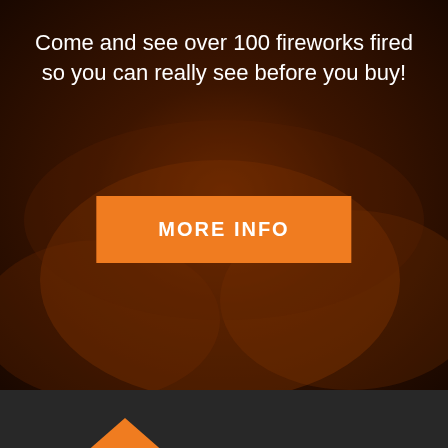Come and see over 100 fireworks fired so you can really see before you buy!
[Figure (other): Orange 'MORE INFO' button on dark background]
[Figure (logo): FWC Firework Crazy logo — orange diamond shape with FWC text and orange FIREWORK CRAZY wordmark on dark background]
Trading Address
[Figure (other): Bottom navigation bar with Menu, Shop, Wishlist, Sign In icons on light grey background]